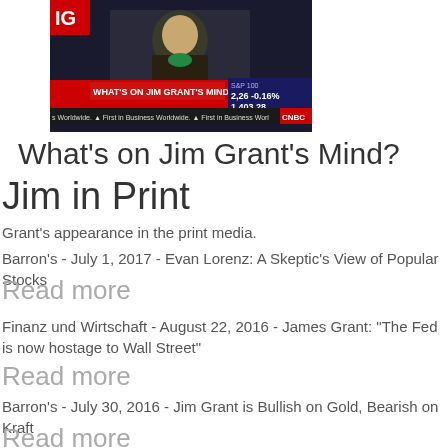[Figure (screenshot): CNBC Exclusive screenshot showing 'What's on Jim Grant's Mind?' with S&P 100 ticker showing 2,26 -0.16% and 1,403.28]
What's on Jim Grant's Mind?
Jim in Print
Grant's appearance in the print media.
Barron's - July 1, 2017 - Evan Lorenz: A Skeptic's View of Popular Stocks
Read more
Finanz und Wirtschaft - August 22, 2016 - James Grant: "The Fed is now hostage to Wall Street"
Read more
Barron's - July 30, 2016 - Jim Grant is Bullish on Gold, Bearish on Kraft
Read more